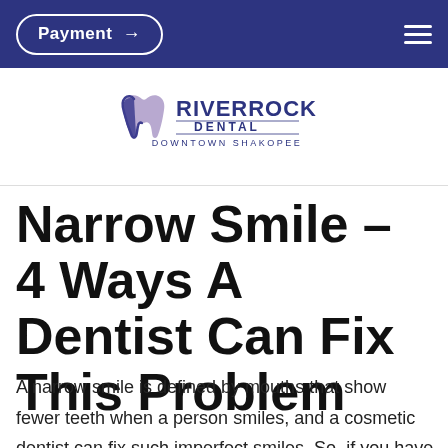Payment →
[Figure (logo): RiverRock Dental Downtown Shakopee logo with tooth icon]
Narrow Smile – 4 Ways A Dentist Can Fix This Problem
A narrow smile is defined by mouths that show fewer teeth when a person smiles, and a cosmetic dentist can fix such imperfect smiles. So, if you have a narrow smile that you're unhappy with, there is a